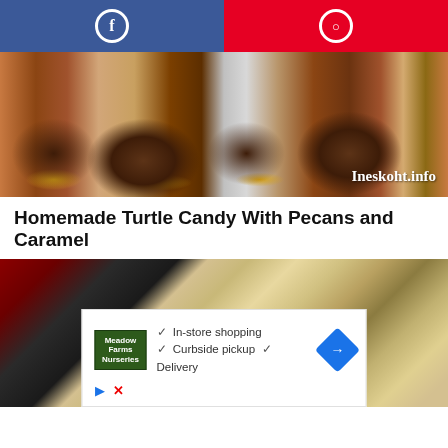[Figure (other): Social share bar with Facebook (blue) and Pinterest (red) buttons]
[Figure (photo): Homemade turtle candies with chocolate, pecans, and caramel on a white surface, with Ineskoht.info watermark]
Homemade Turtle Candy With Pecans and Caramel
[Figure (photo): Caramel wrapped in plastic wrap on a kitchen surface]
[Figure (other): Advertisement with store logo showing: In-store shopping, Curbside pickup, Delivery options with navigation arrow icon]